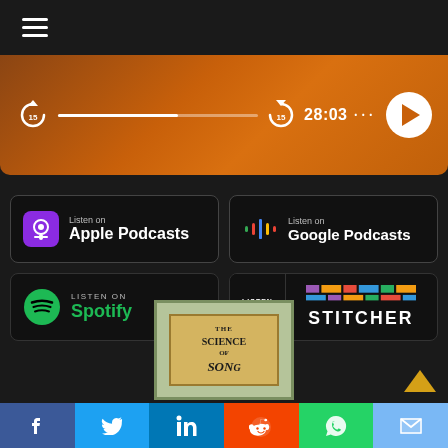[Figure (screenshot): Mobile app navigation hamburger menu icon (three horizontal white lines) on dark background]
[Figure (screenshot): Audio player bar with orange/brown gradient background, skip-back 15s button, progress bar, skip-forward 15s button, time display 28:03, ellipsis menu, and white circular play button]
[Figure (screenshot): Listen on Apple Podcasts button - black rounded rectangle with purple podcast icon and white text]
[Figure (screenshot): Listen on Google Podcasts button - black rounded rectangle with Google Podcasts colorful icon and white text]
[Figure (screenshot): Listen on Spotify button - black rounded rectangle with green Spotify logo and green/white text]
[Figure (screenshot): Listen on Stitcher button - black rounded rectangle with LISTEN ON text and colorful STITCHER logo]
[Figure (screenshot): Partial album art for The Science of Song podcast - beige/green bordered image partially visible]
[Figure (screenshot): Social sharing bottom bar with Facebook (blue), Twitter (light blue), LinkedIn (dark blue), Reddit (orange-red), WhatsApp (green), Email (light blue) icons]